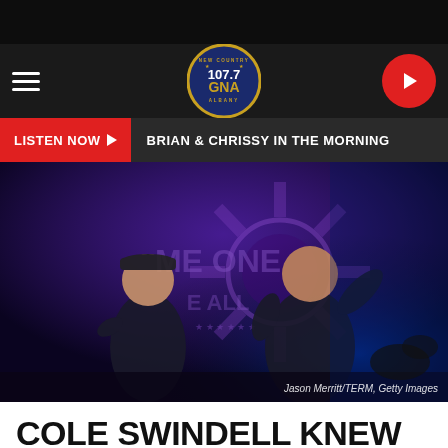[Figure (screenshot): 107.7 GNA New Country Albany radio station website screenshot. Navigation bar with hamburger menu and circular logo badge. Listen Now button with show name Brian & Chrissy In The Morning. Main photo of two male country singers performing on stage with purple/blue lighting. Photo credit: Jason Merritt/TERM, Getty Images.]
COLE SWINDELL KNEW LUKE